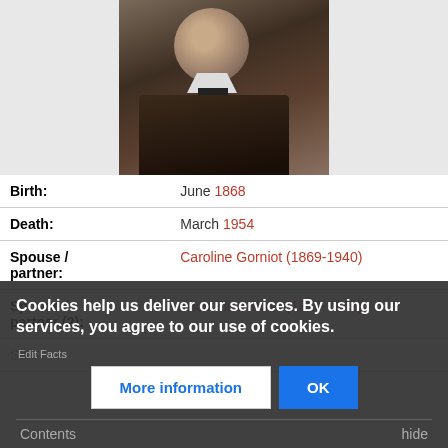[Figure (photo): Old black and white portrait photo of a man in a suit with a bow tie]
| Birth: | June 1868 |
| Death: | March 1954 |
| Spouse / partner: | Caroline Gorniot (1869-1940) |
| Spouse / partner (2): | Alice Eliza Moss (1879-1945) |
| Sex: |  |
Cookies help us deliver our services. By using our services, you agree to our use of cookies.
More information | OK
Contents | hide